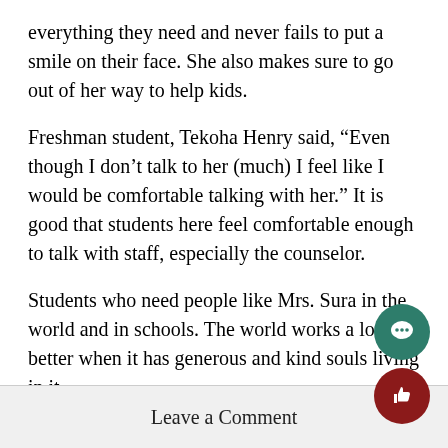everything they need and never fails to put a smile on their face. She also makes sure to go out of her way to help kids.
Freshman student, Tekoha Henry said, “Even though I don’t talk to her (much) I feel like I would be comfortable talking with her.” It is good that students here feel comfortable enough to talk with staff, especially the counselor.
Students who need people like Mrs. Sura in the world and in schools. The world works a lot better when it has generous and kind souls living in it.
Leave a Comment